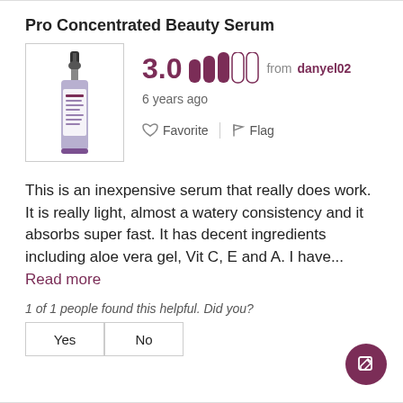Pro Concentrated Beauty Serum
[Figure (photo): Product image of a serum bottle with dropper, label appears to be skincare brand, white and purple colors]
3.0  from  danyel02
6 years ago
Favorite   Flag
This is an inexpensive serum that really does work. It is really light, almost a watery consistency and it absorbs super fast. It has decent ingredients including aloe vera gel, Vit C, E and A. I have... Read more
1 of 1 people found this helpful. Did you?
Yes   No